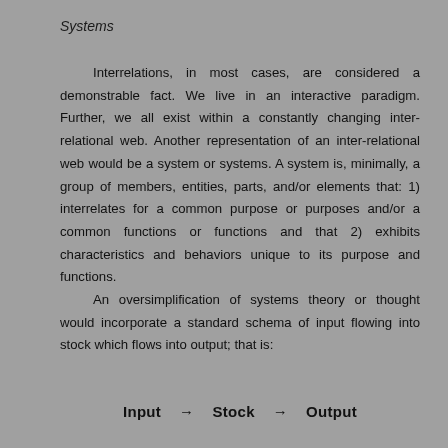Systems
Interrelations, in most cases, are considered a demonstrable fact. We live in an interactive paradigm. Further, we all exist within a constantly changing inter-relational web. Another representation of an inter-relational web would be a system or systems. A system is, minimally, a group of members, entities, parts, and/or elements that: 1) interrelates for a common purpose or purposes and/or a common functions or functions and that 2) exhibits characteristics and behaviors unique to its purpose and functions.
An oversimplification of systems theory or thought would incorporate a standard schema of input flowing into stock which flows into output; that is:
[Figure (infographic): Flow diagram showing: Input → Stock → Output]